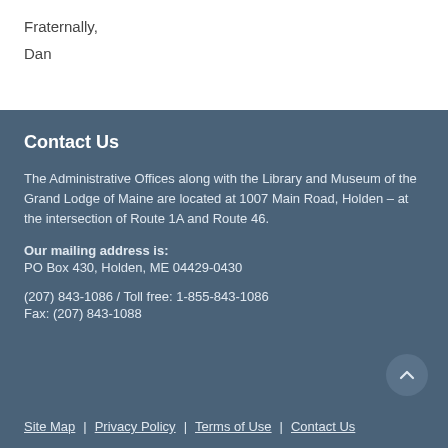Fraternally,
Dan
Contact Us
The Administrative Offices along with the Library and Museum of the Grand Lodge of Maine are located at 1007 Main Road, Holden – at the intersection of Route 1A and Route 46.
Our mailing address is:
PO Box 430, Holden, ME 04429-0430
(207) 843-1086 / Toll free: 1-855-843-1086
Fax: (207) 843-1088
Site Map  |  Privacy Policy  |  Terms of Use  |  Contact Us